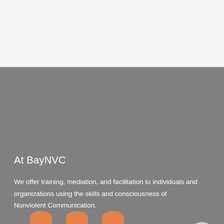At BayNVC
We offer training, mediation, and facilitation to individuals and organizations using the skills and consciousness of Nonviolent Communication.
DONATE NOW